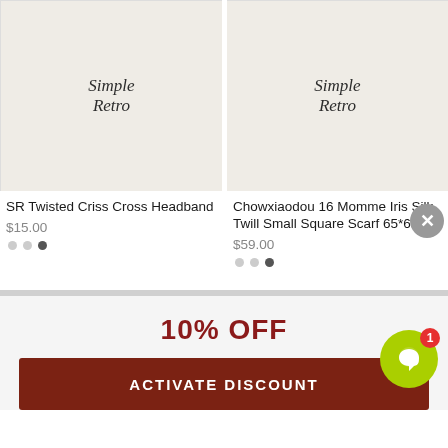[Figure (screenshot): Product image placeholder with Simple Retro logo on beige background - SR Twisted Criss Cross Headband]
[Figure (screenshot): Product image placeholder with Simple Retro logo on beige background - Chowxiaodou 16 Momme Iris Silk Twill Small Square Scarf 65*65]
SR Twisted Criss Cross Headband
$15.00
Chowxiaodou 16 Momme Iris Silk Twill Small Square Scarf 65*65
$59.00
10% OFF
ACTIVATE DISCOUNT